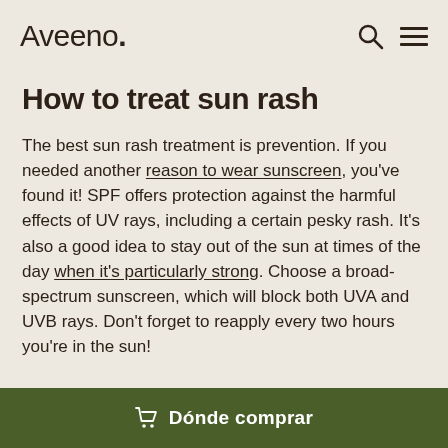Aveeno.
How to treat sun rash
The best sun rash treatment is prevention. If you needed another reason to wear sunscreen, you've found it! SPF offers protection against the harmful effects of UV rays, including a certain pesky rash. It's also a good idea to stay out of the sun at times of the day when it's particularly strong. Choose a broad-spectrum sunscreen, which will block both UVA and UVB rays. Don't forget to reapply every two hours you're in the sun!
Dónde comprar